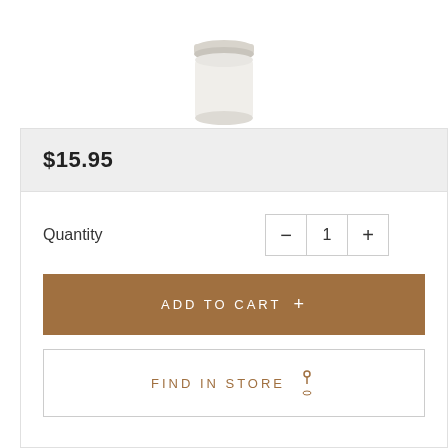[Figure (photo): Product photo: small white cylindrical container/jar with lid, partially cropped at top]
$15.95
Quantity
ADD TO CART +
FIND IN STORE
[Figure (infographic): Social sharing icons: Facebook, Twitter, Pinterest, Email]
Feedback